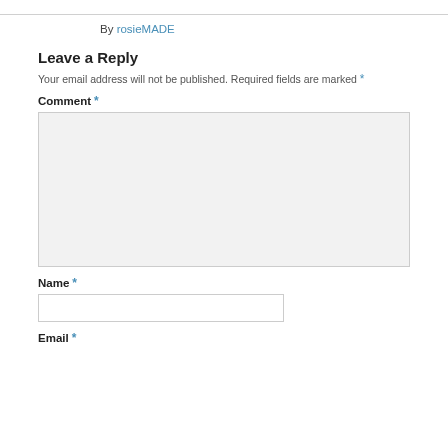By rosieMADE
Leave a Reply
Your email address will not be published. Required fields are marked *
Comment *
Name *
Email *